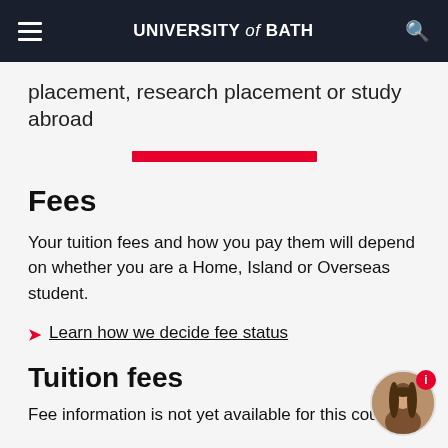UNIVERSITY of BATH
placement, research placement or study abroad
Fees
Your tuition fees and how you pay them will depend on whether you are a Home, Island or Overseas student.
Learn how we decide fee status
Tuition fees
Fee information is not yet available for this course